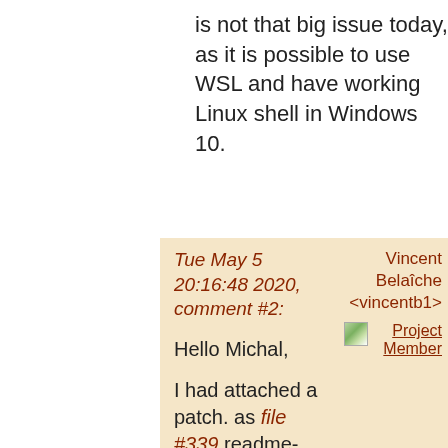is not that big issue today, as it is possible to use WSL and have working Linux shell in Windows 10.
Tue May 5 20:16:48 2020, comment #2:
Hello Michal,
I had attached a patch. as file #339 readme-patch.diff
I think that the statement about the PATH should also be updated.
Maybe my patch is not OK, and one should say « provided that the scripts or any symlink thereof can be found by the shell through the PATH ».
Vincent Belaîche <vincentb1>
[Figure (other): Small avatar image icon (landscape/nature thumbnail)]
Project Member